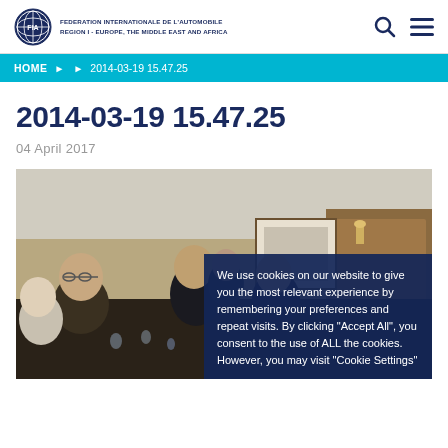FEDERATION INTERNATIONALE DE L'AUTOMOBILE REGION I - EUROPE, THE MIDDLE EAST AND AFRICA
HOME ▶ ▶ 2014-03-19 15.47.25
2014-03-19 15.47.25
04 April 2017
[Figure (photo): Group of people seated at a dinner or meeting table in a wood-panelled room. A cookie consent overlay box appears in the lower right of the image reading: We use cookies on our website to give you the most relevant experience by remembering your preferences and repeat visits. By clicking "Accept All", you consent to the use of ALL the cookies. However, you may visit "Cookie Settings"]